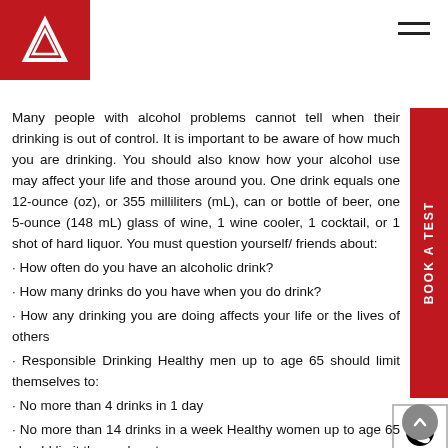Logo and navigation header
Many people with alcohol problems cannot tell when their drinking is out of control. It is important to be aware of how much you are drinking. You should also know how your alcohol use may affect your life and those around you. One drink equals one 12-ounce (oz), or 355 milliliters (mL), can or bottle of beer, one 5-ounce (148 mL) glass of wine, 1 wine cooler, 1 cocktail, or 1 shot of hard liquor. You must question yourself/ friends about:
How often do you have an alcoholic drink?
How many drinks do you have when you do drink?
How any drinking you are doing affects your life or the lives of others
Responsible Drinking Healthy men up to age 65 should limit themselves to:
No more than 4 drinks in 1 day
No more than 14 drinks in a week Healthy women up to age 65 should limit themselves to:
No more than 3 drinks in 1 day
No more than 7 drinks in a week Healthy women of all ages and healthy men over age 65 should limit themselves